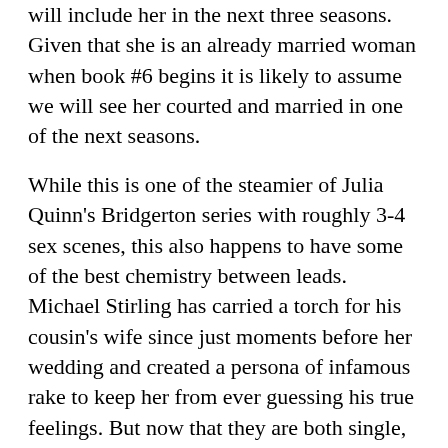will include her in the next three seasons. Given that she is an already married woman when book #6 begins it is likely to assume we will see her courted and married in one of the next seasons.
While this is one of the steamier of Julia Quinn's Bridgerton series with roughly 3-4 sex scenes, this also happens to have some of the best chemistry between leads. Michael Stirling has carried a torch for his cousin's wife since just moments before her wedding and created a persona of infamous rake to keep her from ever guessing his true feelings. But now that they are both single, what is going to happen when Francesca desperately wants to remarry and have a baby and Michael cannot deny his feelings for